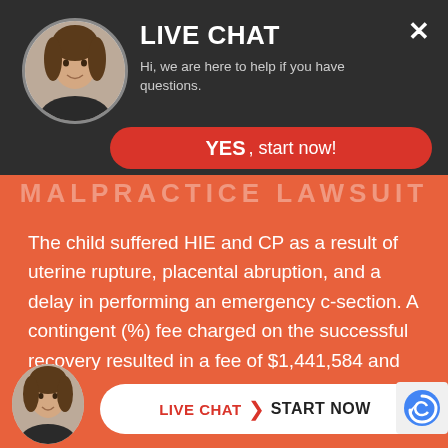LIVE CHAT — Hi, we are here to help if you have questions.
YES, start now!
MALPRACTICE LAWSUIT
The child suffered HIE and CP as a result of uterine rupture, placental abruption, and a delay in performing an emergency c-section. A contingent (%) fee charged on the successful recovery resulted in a fee of $1,441,584 and litigation expenses and attorney's fees which were reimbursed by the client out of the gross settlement amount.
[Figure (photo): Portrait photo of a woman with dark hair, used as chat avatar]
LIVE CHAT  START NOW